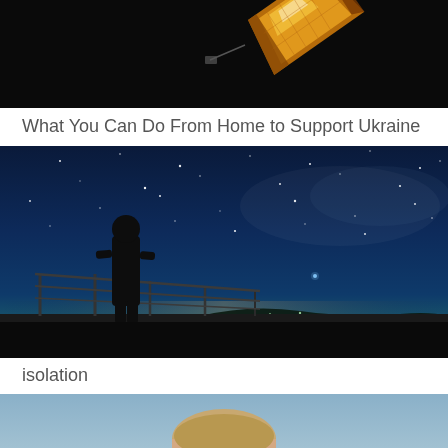[Figure (photo): A satellite or space object with golden/orange reflective panels against a black background]
What You Can Do From Home to Support Ukraine
[Figure (photo): Silhouette of a person standing on a viewing platform or deck with metal railings, looking at a starry night sky with the Milky Way visible and city lights in the distance]
isolation
[Figure (photo): Partial view of a person's head/face against a light blue sky background]